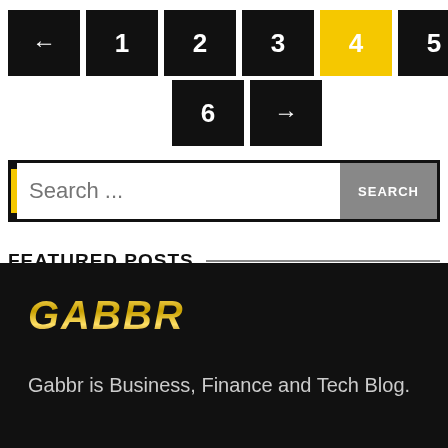[Figure (other): Pagination navigation buttons: left arrow, 1, 2, 3, 4 (highlighted yellow/active), 5 on first row; 6 and right arrow on second row]
[Figure (other): Search bar with yellow accent bar on left, placeholder text 'Search ...', and a SEARCH button on the right]
FEATURED POSTS
[Figure (logo): GABBR logo in yellow metallic italic bold text on black background]
Gabbr is Business, Finance and Tech Blog.